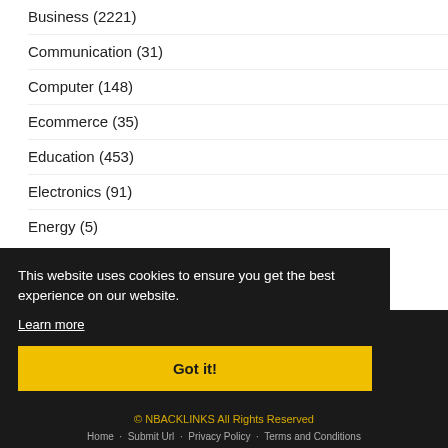Business (2221)
Communication (31)
Computer (148)
Ecommerce (35)
Education (453)
Electronics (91)
Energy (5)
Entertainment (31)
This website uses cookies to ensure you get the best experience on our website.
Learn more
Got it!
© NBACKLINKS All Rights Reserved
Home · Submit Url · Privacy Policy · Terms and Conditions